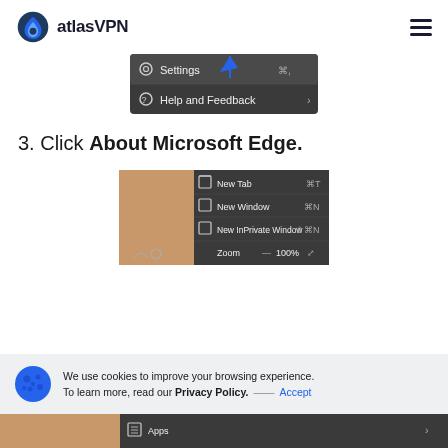atlasVPN
[Figure (screenshot): Dark dropdown menu showing Settings (⌘,) and Help and Feedback options, with a blue arrow pointing downward]
3. Click About Microsoft Edge.
[Figure (screenshot): Microsoft Edge browser dropdown menu showing New Tab (⌘T), New Window (⌘N), New InPrivate Window (⇧⌘N), and Zoom 100% options]
We use cookies to improve your browsing experience. To learn more, read our Privacy Policy. — Accept
[Figure (screenshot): Partial screenshot of additional Microsoft Edge menu items including Apps]